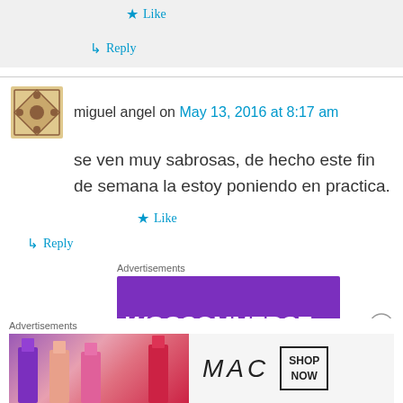★ Like
↳ Reply
miguel angel on May 13, 2016 at 8:17 am
se ven muy sabrosas, de hecho este fin de semana la estoy poniendo en practica.
★ Like
↳ Reply
Advertisements
[Figure (screenshot): WooCommerce purple advertisement banner]
Advertisements
[Figure (screenshot): MAC cosmetics Shop Now advertisement banner with lipsticks]